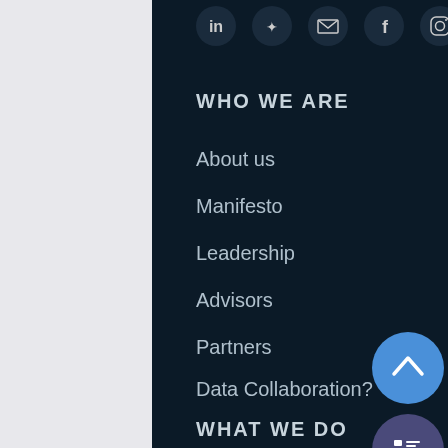[Figure (other): Social media icons row (LinkedIn, Twitter, Email, Facebook, Instagram) in circular dark buttons]
WHO WE ARE
About us
Manifesto
Leadership
Advisors
Partners
Data Collaboration?
WHAT WE DO
Data Infrastructure
Data Community